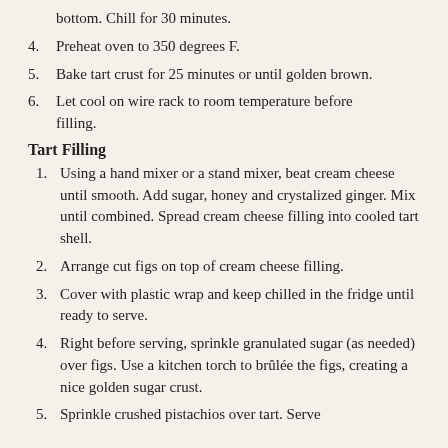bottom. Chill for 30 minutes.
4. Preheat oven to 350 degrees F.
5. Bake tart crust for 25 minutes or until golden brown.
6. Let cool on wire rack to room temperature before filling.
Tart Filling
1. Using a hand mixer or a stand mixer, beat cream cheese until smooth. Add sugar, honey and crystalized ginger. Mix until combined. Spread cream cheese filling into cooled tart shell.
2. Arrange cut figs on top of cream cheese filling.
3. Cover with plastic wrap and keep chilled in the fridge until ready to serve.
4. Right before serving, sprinkle granulated sugar (as needed) over figs. Use a kitchen torch to brûlée the figs, creating a nice golden sugar crust.
5. Sprinkle crushed pistachios over tart. Serve